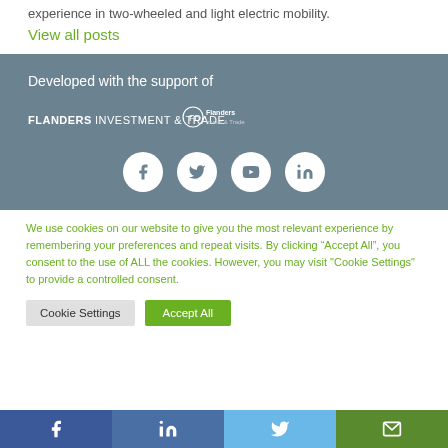experience in two-wheeled and light electric mobility.
View all posts
Developed with the support of
[Figure (logo): Flanders Investment & Trade logo with Flanders state icon]
[Figure (infographic): Social media icons: Facebook, Twitter, YouTube, LinkedIn in white circles on grey background]
We use cookies on our website to give you the most relevant experience by remembering your preferences and repeat visits. By clicking "Accept All", you consent to the use of ALL the cookies. However, you may visit "Cookie Settings" to provide a controlled consent.
Cookie Settings
Accept All
[Figure (infographic): Bottom share bar with Facebook, LinkedIn, Twitter, and email icons]